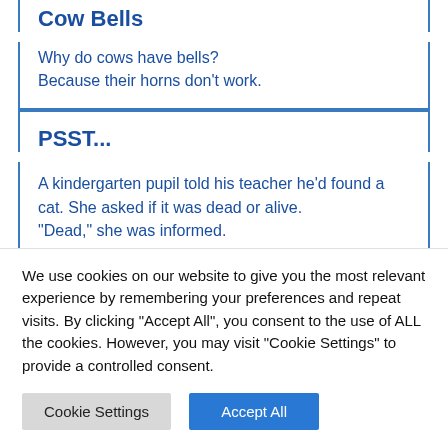Cow Bells
Why do cows have bells?
Because their horns don't work.
PSST...
A kindergarten pupil told his teacher he'd found a cat. She asked if it was dead or alive.
"Dead," she was informed.
We use cookies on our website to give you the most relevant experience by remembering your preferences and repeat visits. By clicking "Accept All", you consent to the use of ALL the cookies. However, you may visit "Cookie Settings" to provide a controlled consent.